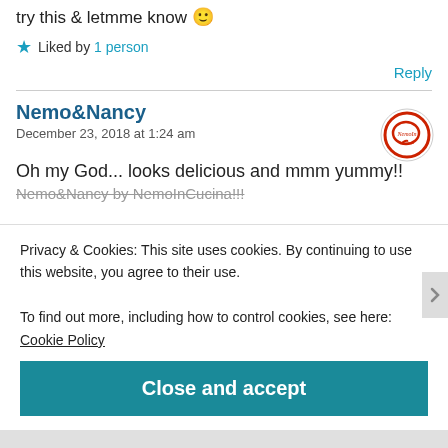try this & letmme know 😊
★ Liked by 1 person
Reply
Nemo&Nancy
December 23, 2018 at 1:24 am
Oh my God... looks delicious and mmm yummy!!
Nemo&Nancy by NemoInCucina!!!
Privacy & Cookies: This site uses cookies. By continuing to use this website, you agree to their use.
To find out more, including how to control cookies, see here: Cookie Policy
Close and accept